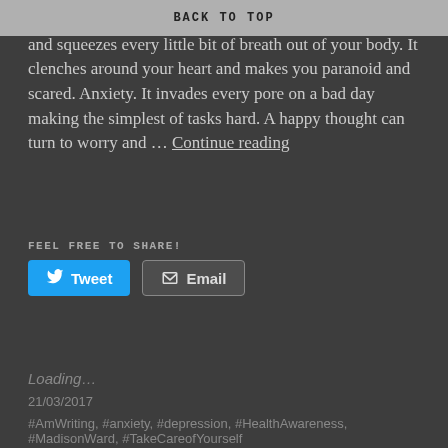BACK TO TOP
Anxiety is the fear of the unknown. It grips your chest and squeezes every little bit of breath out of your body. It clenches around your heart and makes you paranoid and scared. Anxiety. It invades every pore on a bad day making the simplest of tasks hard. A happy thought can turn to worry and … Continue reading
FEEL FREE TO SHARE!
Tweet   Email
Loading...
21/03/2017
#AmWriting, #anxiety, #depression, #HealthAwareness, #MadisonWard, #TakeCareofYourself